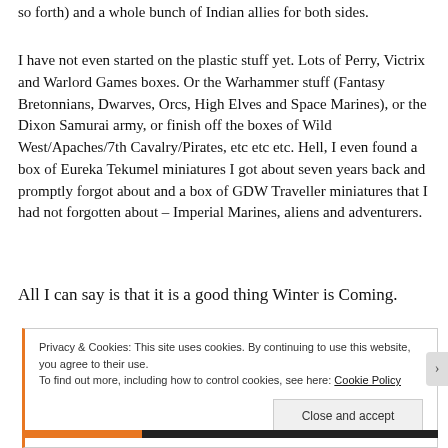so forth) and a whole bunch of Indian allies for both sides.
I have not even started on the plastic stuff yet. Lots of Perry, Victrix and Warlord Games boxes. Or the Warhammer stuff (Fantasy Bretonnians, Dwarves, Orcs, High Elves and Space Marines), or the Dixon Samurai army, or finish off the boxes of Wild West/Apaches/7th Cavalry/Pirates, etc etc etc. Hell, I even found a box of Eureka Tekumel miniatures I got about seven years back and promptly forgot about and a box of GDW Traveller miniatures that I had not forgotten about – Imperial Marines, aliens and adventurers.
All I can say is that it is a good thing Winter is Coming.
Privacy & Cookies: This site uses cookies. By continuing to use this website, you agree to their use.
To find out more, including how to control cookies, see here: Cookie Policy
Close and accept